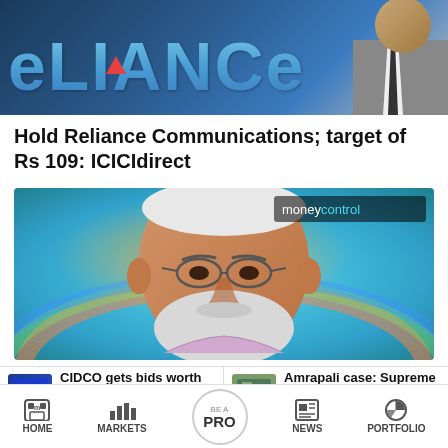[Figure (photo): Reliance Communications logo/banner with partial text showing 'ELIANCE' in blue metallic font against dark blue background, with a person in suit visible on right side]
Hold Reliance Communications; target of Rs 109: ICICIdirect
[Figure (photo): Moneycontrol branded illustration/artistic rendering of a man with white beard and glasses (PM Narendra Modi) on a colorful abstract background with rainbow colors]
CIDCO gets bids worth Rs 678
Amrapali case: Supreme Court grants
HOME   MARKETS   BE A PRO   NEWS   PORTFOLIO